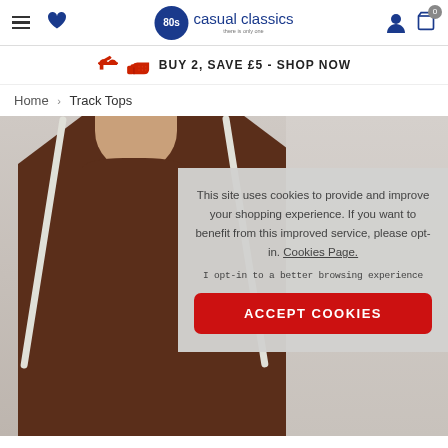80s Casual Classics - navigation bar with hamburger menu, wishlist, logo, user icon, and cart (0)
BUY 2, SAVE £5 - SHOP NOW
Home › Track Tops
[Figure (photo): Man wearing a dark brown corduroy track top with white piping stripes on the shoulders]
This site uses cookies to provide and improve your shopping experience. If you want to benefit from this improved service, please opt-in. Cookies Page.

I opt-in to a better browsing experience

ACCEPT COOKIES